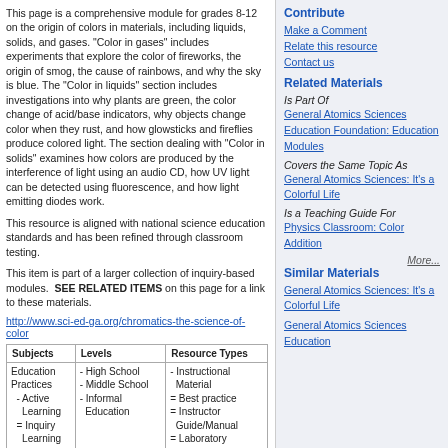This page is a comprehensive module for grades 8-12 on the origin of colors in materials, including liquids, solids, and gases. "Color in gases" includes experiments that explore the color of fireworks, the origin of smog, the cause of rainbows, and why the sky is blue. The "Color in liquids" section includes investigations into why plants are green, the color change of acid/base indicators, why objects change color when they rust, and how glowsticks and fireflies produce colored light. The section dealing with "Color in solids" examines how colors are produced by the interference of light using an audio CD, how UV light can be detected using fluorescence, and how light emitting diodes work.
This resource is aligned with national science education standards and has been refined through classroom testing.
This item is part of a larger collection of inquiry-based modules. SEE RELATED ITEMS on this page for a link to these materials.
http://www.sci-ed-ga.org/chromatics-the-science-of-color
| Subjects | Levels | Resource Types |
| --- | --- | --- |
| Education Practices
- Active
Learning
= Inquiry
Learning | - High School
- Middle School
- Informal
Education | - Instructional
Material
= Best practice
= Instructor
Guide/Manual
= Laboratory |
Contribute
Make a Comment
Relate this resource
Contact us
Related Materials
Is Part Of
General Atomics Sciences Education Foundation: Education Modules
Covers the Same Topic As
General Atomics Sciences: It's a Colorful Life
Is a Teaching Guide For
Physics Classroom: Color Addition
More...
Similar Materials
General Atomics Sciences: It's a Colorful Life
General Atomics Sciences Education